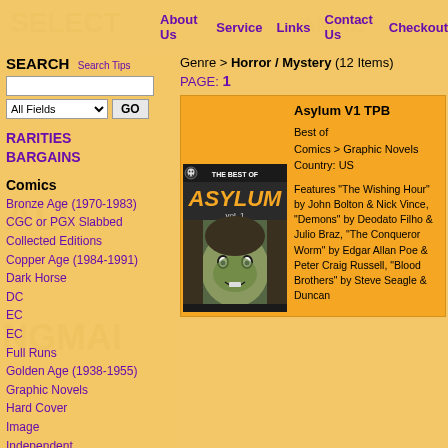About Us  Service  Links  Contact Us  Checkout
SEARCH  Search Tips
All Fields  GO
RARITIES
BARGAINS
Comics
Bronze Age (1970-1983)
CGC or PGX Slabbed
Collected Editions
Copper Age (1984-1991)
Dark Horse
DC
EC
EC
Full Runs
Golden Age (1938-1955)
Graphic Novels
Hard Cover
Image
Independent
International Editions
Genre > Horror / Mystery (12 Items)
PAGE: 1
[Figure (illustration): Cover of Asylum V1 TPB comic book showing a person with green-painted face and dramatic styling, with 'THE BEST OF ASYLUM VOL. 1' text]
Asylum V1 TPB
Best of
Comics > Graphic Novels
Country: US

Features "The Wishing Hour" by John Bolton & Nick Vince, "Demons" by Deodato Filho & Julio Braz, "The Conqueror Worm" by Edgar Allan Poe & Peter Craig Russell, "Blood Brothers" by Steve Seagle & Duncan